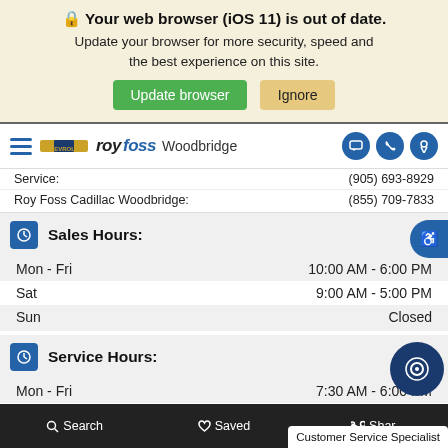🔒 Your web browser (iOS 11) is out of date. Update your browser for more security, speed and the best experience on this site. [Update browser] [Ignore]
[Figure (screenshot): Roy Foss Chevrolet Woodbridge navigation bar with hamburger menu, Chevrolet logo, Roy Foss Woodbridge brand name, and icons for chat, phone, and location]
Service: (905) 693-8929
Roy Foss Cadillac Woodbridge: (855) 709-7833
Sales Hours:
Mon - Fri   10:00 AM - 6:00 PM
Sat   9:00 AM - 5:00 PM
Sun   Closed
Service Hours:
Mon - Fri   7:30 AM - 6:00 PM
Sat   8:00 AM - 1:00 PM
(Express Service Only)
Sun   Closed
Search   Saved   Share   Customer Service Specialist